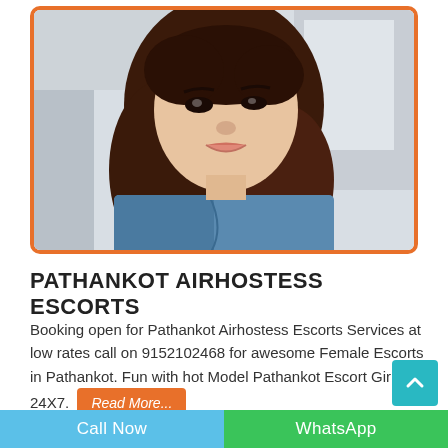[Figure (photo): Young woman with long dark hair wearing a blue denim jacket, selfie-style photo with orange border]
PATHANKOT AIRHOSTESS ESCORTS
Booking open for Pathankot Airhostess Escorts Services at low rates call on 9152102468 for awesome Female Escorts in Pathankot. Fun with hot Model Pathankot Escort Girls 24X7. Read More...
Call Now | WhatsApp